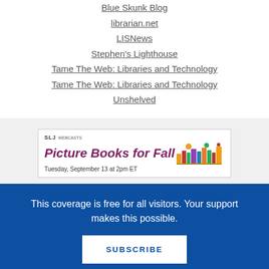Blue Skunk Blog
librarian.net
LISNews
Stephen's Lighthouse
Tame The Web: Libraries and Technology
Tame The Web: Libraries and Technology
Unshelved
[Figure (illustration): SLJ Webcasts banner ad for 'Picture Books for Fall', Tuesday, September 13 at 2pm ET, with illustrated books graphic on the right]
This coverage is free for all visitors. Your support makes this possible.
SUBSCRIBE